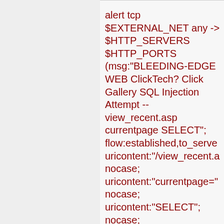alert tcp $EXTERNAL_NET any -> $HTTP_SERVERS $HTTP_PORTS (msg:"BLEEDING-EDGE WEB ClickTech? Click Gallery SQL Injection Attempt -- view_recent.asp currentpage SELECT"; flow:established,to_server; uricontent:"/view_recent.a nocase; uricontent:"currentpage=" nocase; uricontent:"SELECT"; nocase;